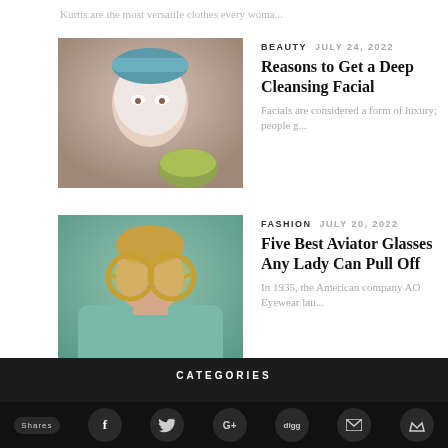Kurtis are the most versatile clothes every woma...
[Figure (photo): Woman with face mask receiving beauty treatment]
BEAUTY   JULY 24, 2022
Reasons to Get a Deep Cleansing Facial
Facials are considered a form of luxury; people g...
[Figure (photo): Woman in teal outfit wearing large round gold sunglasses]
FASHION   JULY 20, 2022
Five Best Aviator Glasses Any Lady Can Pull Off
In 1935, the American company AO Eyewear lau...
[Figure (photo): Woman holding a red work bag]
FASHION   JULY 17, 2022
A Buying Guide For The Right Work Bags For Women
Are you a working woman? If yes, there's one cru...
CATEGORIES
Shares  f  [twitter]  G+  digg  [email]  [crown]